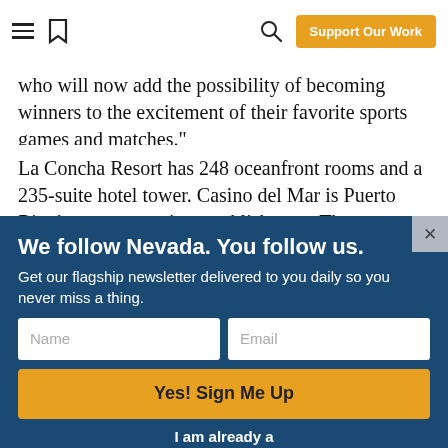Support Our Work
who will now add the possibility of becoming winners to the excitement of their favorite sports games and matches."
La Concha Resort has 248 oceanfront rooms and a 235-suite hotel tower. Casino del Mar is Puerto Rico’s newest gaming establishment. The properties are owned by Paulson & Co., a
We follow Nevada. You follow us.
Get our flagship newsletter delivered to you daily so you never miss a thing.
Yes! Sign Me Up
I am already a subscriber.